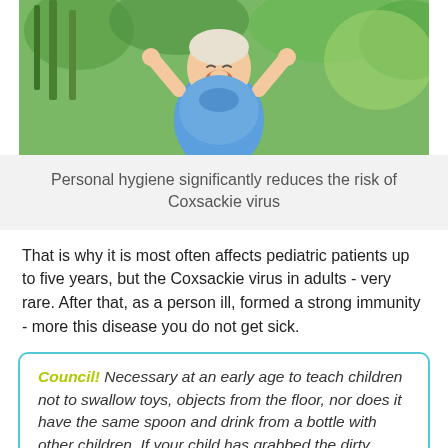[Figure (photo): Young child in blue dress with hands on head, smiling/laughing outdoors with green plants in background]
Personal hygiene significantly reduces the risk of Coxsackie virus
That is why it is most often affects pediatric patients up to five years, but the Coxsackie virus in adults - very rare. After that, as a person ill, formed a strong immunity - more this disease you do not get sick.
Council! Necessary at an early age to teach children not to swallow toys, objects from the floor, nor does it have the same spoon and drink from a bottle with other children. If your child has grabbed the dirty subject - Be sure to wash and treat with his hands, or, least, wipe them with a damp cloth - so you'll reduce